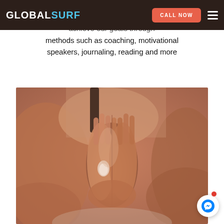GLOBALSURF — CALL NOW (navigation bar)
and being prepared to [change] behavior in order to achieve our goals through methods such as coaching, motivational speakers, journaling, reading and more
[Figure (photo): Close-up photo of a person with hands pressed together in a prayer/namaste pose, showing fingers interlocked and manicured nails, warm skin tones background suggesting wellness/yoga context]